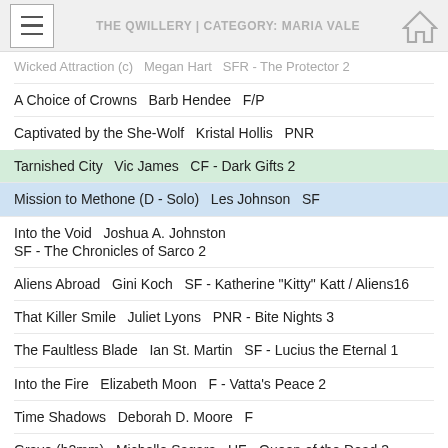THE QWILLERY | CATEGORY: MARIA VALE
Wicked Attraction (c)   Megan Hart   SFR - The Protector 2
A Choice of Crowns   Barb Hendee   F/P
Captivated by the She-Wolf   Kristal Hollis   PNR
Tarnished City   Vic James   CF - Dark Gifts 2
Mission to Methone (D - Solo)   Les Johnson   SF
Into the Void   Joshua A. Johnston
SF - The Chronicles of Sarco 2
Aliens Abroad   Gini Koch   SF - Katherine "Kitty" Katt / Aliens16
That Killer Smile   Juliet Lyons   PNR - Bite Nights 3
The Faultless Blade   Ian St. Martin   SF - Lucius the Eternal 1
Into the Fire   Elizabeth Moon   F - Vatta's Peace 2
Time Shadows   Deborah D. Moore   F
Grave (h2mm)   Michelle Sagara   UF - Queen of the Dead 3
Child of a Mad God   R. A. Salvatore   F - The Coven 1